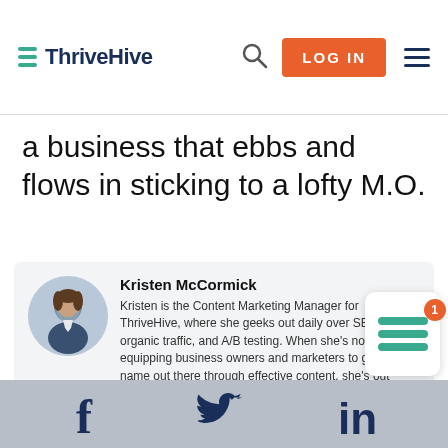ThriveHive — LOG IN
a business that ebbs and flows in sticking to a lofty M.O.
[Figure (photo): Author bio card with circular photo of Kristen McCormick on the left, name and bio text on the right]
Kristen McCormick
Kristen is the Content Marketing Manager for ThriveHive, where she geeks out daily over SEO, organic traffic, and A/B testing. When she's not equipping business owners and marketers to get their name out there through effective content, she's out pedaling the streets of Boston on her beloved bike.
Social share icons: Facebook, Twitter, LinkedIn